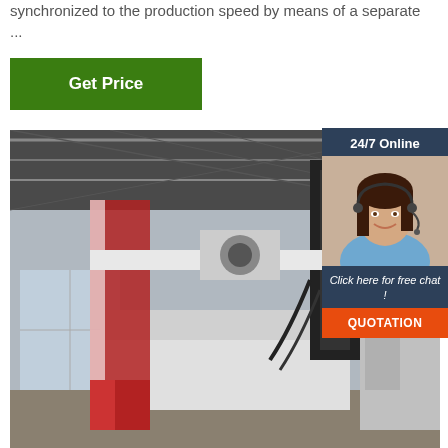synchronized to the production speed by means of a separate ...
Get Price
[Figure (photo): Large industrial CNC milling or boring machine inside a factory/warehouse with steel roof structure, photographed in a manufacturing facility. The machine is white and red with a tall vertical column.]
24/7 Online
[Figure (photo): Customer service agent: a smiling woman with long dark hair wearing a headset and blue shirt, indicating online support.]
Click here for free chat !
QUOTATION